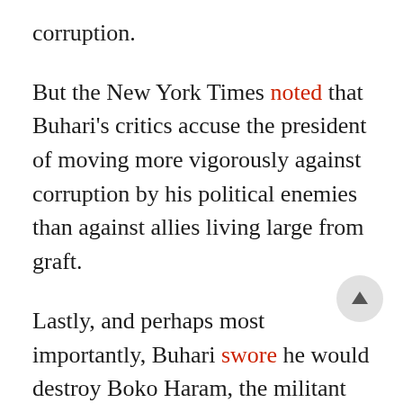corruption.
But the New York Times noted that Buhari's critics accuse the president of moving more vigorously against corruption by his political enemies than against allies living large from graft.
Lastly, and perhaps most importantly, Buhari swore he would destroy Boko Haram, the militant group affiliated with the Islamic State whose fighters have